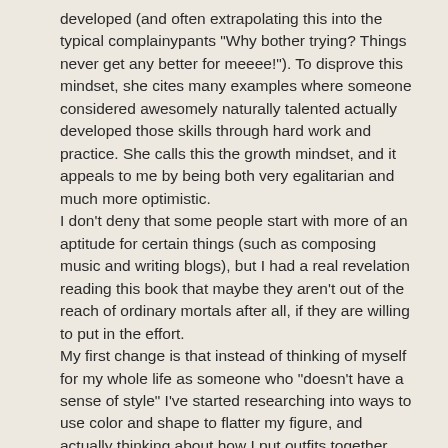developed (and often extrapolating this into the typical complainypants "Why bother trying? Things never get any better for meeee!"). To disprove this mindset, she cites many examples where someone considered awesomely naturally talented actually developed those skills through hard work and practice. She calls this the growth mindset, and it appeals to me by being both very egalitarian and much more optimistic. I don't deny that some people start with more of an aptitude for certain things (such as composing music and writing blogs), but I had a real revelation reading this book that maybe they aren't out of the reach of ordinary mortals after all, if they are willing to put in the effort. My first change is that instead of thinking of myself for my whole life as someone who "doesn't have a sense of style" I've started researching into ways to use color and shape to flatter my figure, and actually thinking about how I put outfits together, which means I both get more compliments and am able to (very-Mustachian-ly) get much more use out of clothes I didn't think I could wear and were languishing at the back of my closet.